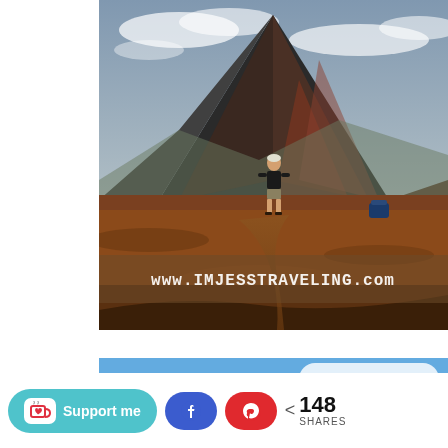[Figure (photo): A person standing in a volcanic landscape with a reddish-brown mountain peak in the background under cloudy sky. Watermark text reads www.IMJESSTRAVELING.com]
[Figure (photo): Partial view of a second image with blue sky background and a rounded rectangle overlay with text beginning 'SLIDING']
Support me
148 SHARES